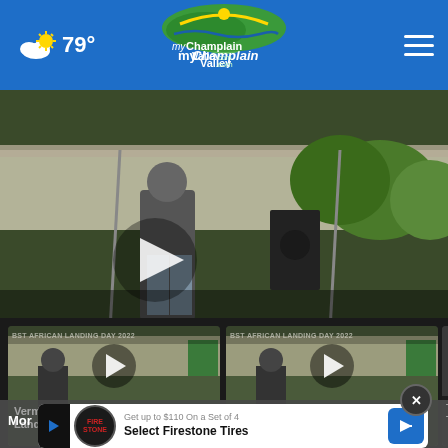79° myChamplainValley.com
[Figure (screenshot): Main video player showing two performers on an outdoor stage with a tent canopy, trees in the background, with a large white play button in the center]
[Figure (screenshot): Video thumbnail: Vermonters celebrates African Landing Day — BST African Landing Day 2022 text visible, performer with microphone. White play button circle overlay. Title: Vermonters celebrates African Landing Day. 18 hours ago.]
[Figure (screenshot): Video thumbnail: Vermonters celebrated African Landing Day — BST African Landing Day 2022 text visible, performer with microphone. White play button circle overlay. Title: Vermonters celebrated African Landing Day. 18 hours ago.]
[Figure (screenshot): Partial third video thumbnail: This P... The M...]
Get up to $110 On a Set of 4 Select Firestone Tires
Save Up To $110 On New Tires...